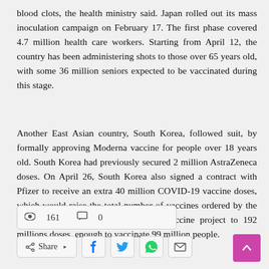blood clots, the health ministry said. Japan rolled out its mass inoculation campaign on February 17. The first phase covered 4.7 million health care workers. Starting from April 12, the country has been administering shots to those over 65 years old, with some 36 million seniors expected to be vaccinated during this stage.
Another East Asian country, South Korea, followed suit, by formally approving Moderna vaccine for people over 18 years old. South Korea had previously secured 2 million AstraZeneca doses. On April 26, South Korea also signed a contract with Pfizer to receive an extra 40 million COVID-19 vaccine doses, which would raise the total number of vaccines ordered by the country through the COVAX global vaccine project to 192 millions doses, enough to vaccinate 99 million people.
👁 161  💬 0
Share | f | bird | whatsapp | envelope